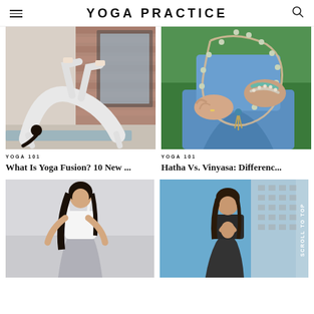YOGA PRACTICE
[Figure (photo): Woman in white outfit doing wheel/bridge yoga pose on blue mat in a studio with brick wall]
[Figure (photo): Hands holding mala/prayer beads with a tassel, wearing bracelets, sitting cross-legged on grass]
YOGA 101
What Is Yoga Fusion? 10 New ...
YOGA 101
Hatha Vs. Vinyasa: Differenc...
[Figure (photo): Woman in white sports bra and grey leggings in a yoga pose on a light grey background]
[Figure (photo): Woman in black sports bra with hands in prayer position outdoors with blue sky and building in background; Scroll To Top overlay text]